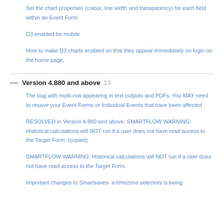Set the chart properties (colour, line width and transparency) for each field within an Event Form
D3 enabled for mobile
How to make D3 charts enabled so that they appear immediately on login on the home page.
Version 4.880 and above  13
The bug with multi-row appearing in text outputs and PDFs. You MAY need to resave your Event Forms or Individual Events that have been affected
RESOLVED in Version 4.880 and above: SMARTFLOW WARNING: Historical calculations will NOT run if a user does not have read access to the Target Form. (copied)
SMARTFLOW WARNING: Historical calculations will NOT run if a user does not have read access to the Target Form.
Important changes to Smartsaves- a timezone selectors is being